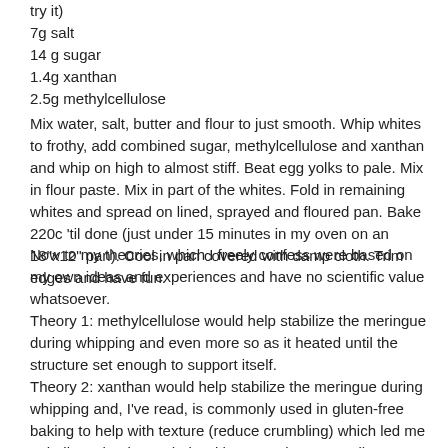try it)
7g salt
14 g sugar
1.4g xanthan
2.5g methylcellulose
Mix water, salt, butter and flour to just smooth. Whip whites to frothy, add combined sugar, methylcellulose and xanthan and whip on high to almost stiff. Beat egg yolks to pale. Mix in flour paste. Mix in part of the whites. Fold in remaining whites and spread on lined, sprayed and floured pan. Bake 220c 'til done (just under 15 minutes in my oven on an 18"x12" pan). Cool in pan covered with damp cloth. Trim edges and have fun.
Now to my theories, which I freely confess were based on my own ideas and experiences and have no scientific value whatsoever.
Theory 1: methylcellulose would help stabilize the meringue during whipping and even more so as it heated until the structure set enough to support itself.
Theory 2: xanthan would help stabilize the meringue during whipping and, I've read, is commonly used in gluten-free baking to help with texture (reduce crumbling) which led me to believe that it may help with texture here as well.